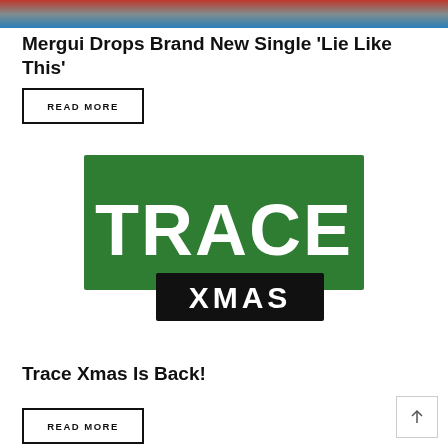[Figure (photo): Top portion of a photo showing people, partially cropped]
Mergui Drops Brand New Single ‘Lie Like This’
READ MORE
[Figure (logo): Trace Xmas logo — green rectangle with white TRACE text and a black XMAS banner below]
Trace Xmas Is Back!
READ MORE